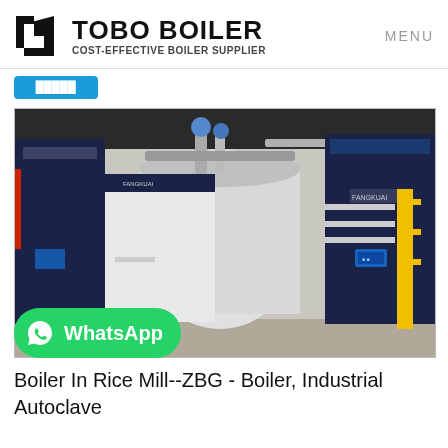[Figure (logo): TOBO BOILER logo with geometric icon and tagline COST-EFFECTIVE BOILER SUPPLIER]
MENU
[Figure (photo): Industrial boilers with FANGKUAI branding installed in a factory/mill setting, large blue and white units with piping]
[Figure (other): WhatsApp contact badge in green]
Boiler In Rice Mill--ZBG - Boiler, Industrial Autoclave